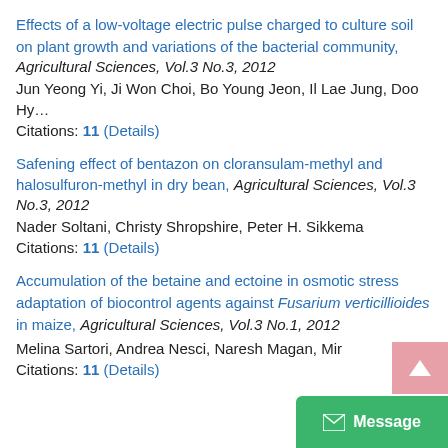Effects of a low-voltage electric pulse charged to culture soil on plant growth and variations of the bacterial community, Agricultural Sciences, Vol.3 No.3, 2012
Jun Yeong Yi, Ji Won Choi, Bo Young Jeon, Il Lae Jung, Doo Hy…
Citations: 11 (Details)
Safening effect of bentazon on cloransulam-methyl and halosulfuron-methyl in dry bean, Agricultural Sciences, Vol.3 No.3, 2012
Nader Soltani, Christy Shropshire, Peter H. Sikkema
Citations: 11 (Details)
Accumulation of the betaine and ectoine in osmotic stress adaptation of biocontrol agents against Fusarium verticillioides in maize, Agricultural Sciences, Vol.3 No.1, 2012
Melina Sartori, Andrea Nesci, Naresh Magan, Mir…
Citations: 11 (Details)